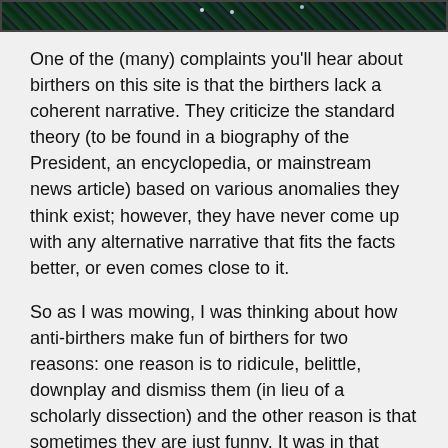[Figure (photo): Dark banner image at top of page with green/teal diagonal streaks and faint dots on dark background]
One of the (many) complaints you'll hear about birthers on this site is that the birthers lack a coherent narrative. They criticize the standard theory (to be found in a biography of the President, an encyclopedia, or mainstream news article) based on various anomalies they think exist; however, they have never come up with any alternative narrative that fits the facts better, or even comes close to it.
So as I was mowing, I was thinking about how anti-birthers make fun of birthers for two reasons: one reason is to ridicule, belittle, downplay and dismiss them (in lieu of a scholarly dissection) and the other reason is that sometimes they are just funny. It was in that latter sense that I ran through in my mind the article from the King of Shambhala at Before It's News. It was his notion that “All the obots here are CIA pai[d] shills” that set me to thinking about a birther “Theory of Everything.”
In order to fit all the disparate birther semi-theories into a grand